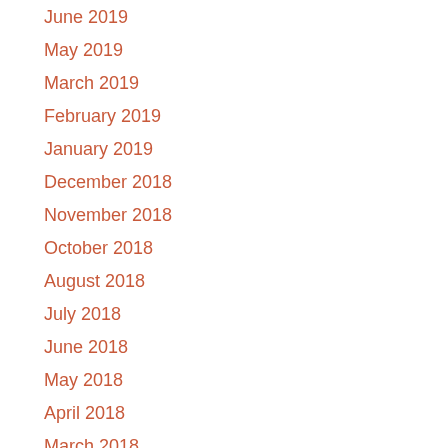June 2019
May 2019
March 2019
February 2019
January 2019
December 2018
November 2018
October 2018
August 2018
July 2018
June 2018
May 2018
April 2018
March 2018
February 2018
January 2018
December 2017